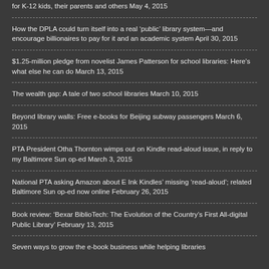for K-12 kids, their parents and others May 4, 2015
How the DPLA could turn itself into a real ‘public’ library system—and encourage billionaires to pay for it and an academic system April 30, 2015
$1.25-million pledge from novelist James Patterson for school libraries: Here’s what else he can do March 13, 2015
The wealth gap: A tale of two school libraries March 10, 2015
Beyond library walls: Free e-books for Beijing subway passengers March 6, 2015
PTA President Otha Thornton wimps out on Kindle read-aloud issue, in reply to my Baltimore Sun op-ed March 3, 2015
National PTA asking Amazon about E Ink Kindles’ missing ‘read-aloud’; related Baltimore Sun op-ed now online February 26, 2015
Book review: ‘Bexar BiblioTech: The Evolution of the Country’s First All-digital Public Library’ February 13, 2015
Seven ways to grow the e-book business while helping libraries